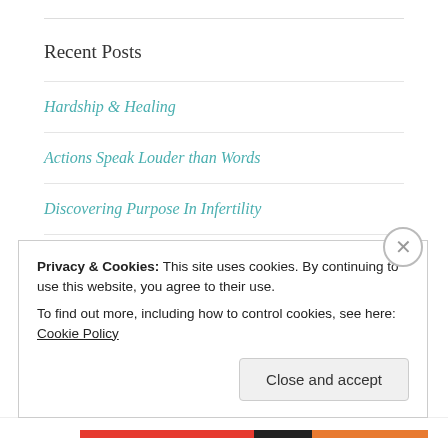Recent Posts
Hardship & Healing
Actions Speak Louder than Words
Discovering Purpose In Infertility
Worth the Wait
Love Before, During, and After Infertility
Privacy & Cookies: This site uses cookies. By continuing to use this website, you agree to their use.
To find out more, including how to control cookies, see here: Cookie Policy
Close and accept